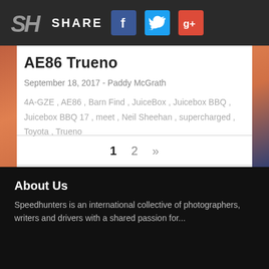SH SHARE [Facebook] [Twitter] [Google+]
AE86 Trueno
September 18, 2017 - Paddy McGrath
4A-GZE , AE86 , Barn Find , JuiceBox , Juicebox BBQ , Juicebox BBQ 17 , meet , Neil Sheehan , supercharged , Toyota , Trueno
1  2  »
About Us
Speedhunters is an international collective of photographers, writers and drivers with a shared passion for...